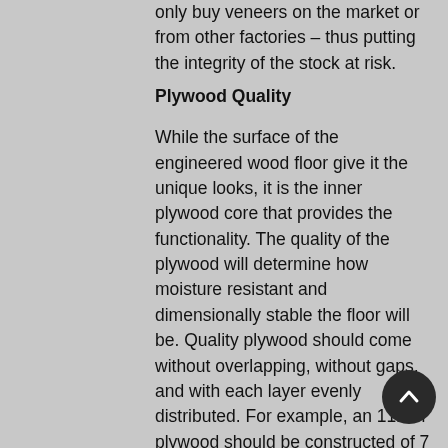only buy veneers on the market or from other factories – thus putting the integrity of the stock at risk.
Plywood Quality
While the surface of the engineered wood floor give it the unique looks, it is the inner plywood core that provides the functionality. The quality of the plywood will determine how moisture resistant and dimensionally stable the floor will be. Quality plywood should come without overlapping, without gaps, and with each layer evenly distributed. For example, an 11mm plywood should be constructed of 7 layers all at 1.5mm thick. The composite wood which makes up the plywood is also very important ranging from birch to eucalyptus to unknown materials. It's important to note that the quality of the plywood will also affect the overall price of the flooring.